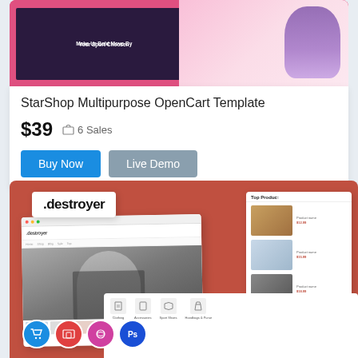[Figure (screenshot): StarShop Multipurpose OpenCart Template preview image showing a fashion e-commerce banner with pink background and models]
StarShop Multipurpose OpenCart Template
$39   🛒 6 Sales
Buy Now   Live Demo
[Figure (screenshot): Destroyer OpenCart theme mockup screenshot showing a fashion e-commerce website with blonde model in sunglasses, product listings, category icons, and tech stack icons (cart, responsive, Opencart, Photoshop)]